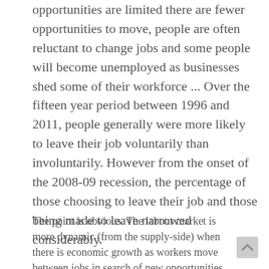opportunities are limited there are fewer opportunities to move, people are often reluctant to change jobs and some people will become unemployed as businesses shed some of their workforce ... Over the fifteen year period between 1996 and 2011, people generally were more likely to leave their job voluntarily than involuntarily. However from the onset of the 2008-09 recession, the percentage of those choosing to leave their job and those being made to leave narrowed considerably.
The point is obvious. The labour market is more dynamic (from the supply-side) when there is economic growth as workers move between jobs in search of new opportunities